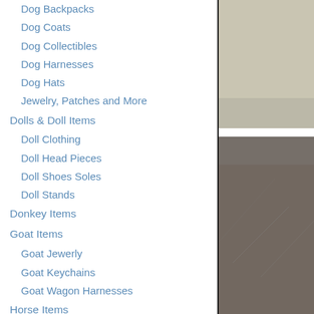Dog Backpacks
Dog Coats
Dog Collectibles
Dog Harnesses
Dog Hats
Jewelry, Patches and More
Dolls & Doll Items
Doll Clothing
Doll Head Pieces
Doll Shoes Soles
Doll Stands
Donkey Items
Goat Items
Goat Jewerly
Goat Keychains
Goat Wagon Harnesses
Horse Items
Horse Jewelry
Key Chains
Rat Items
Agility Equipment
Bags, Totes & Purses
Holiday Ornaments
[Figure (photo): Beige/tan colored surface, top right photo]
[Figure (photo): Dark brown stone/tile floor surface]
Goose Diaper Holders a goose in the house, veh that fashioned f...